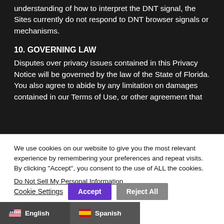understanding of how to interpret the DNT signal, the Sites currently do not respond to DNT browser signals or mechanisms.
10. GOVERNING LAW
Disputes over privacy issues contained in this Privacy Notice will be governed by the law of the State of Florida. You also agree to abide by any limitation on damages contained in our Terms of Use, or other agreement that
We use cookies on our website to give you the most relevant experience by remembering your preferences and repeat visits. By clicking "Accept", you consent to the use of ALL the cookies.
Do Not Sell My Personal Information
Cookie Settings
Accept
Reject All
English
Spanish